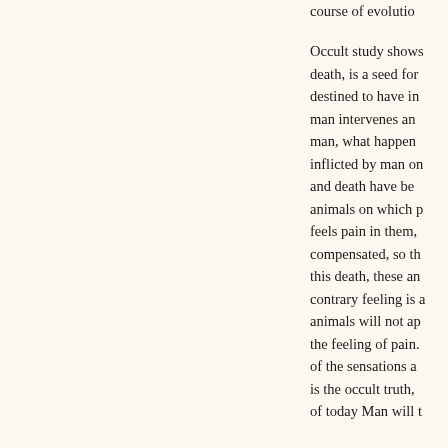course of evolutio... Occult study shows death, is a seed for destined to have in man intervenes an man, what happen inflicted by man on and death have be animals on which p feels pain in them, compensated, so th this death, these an contrary feeling is a animals will not ap the feeling of pain. of the sensations a is the occult truth, of today Man will t